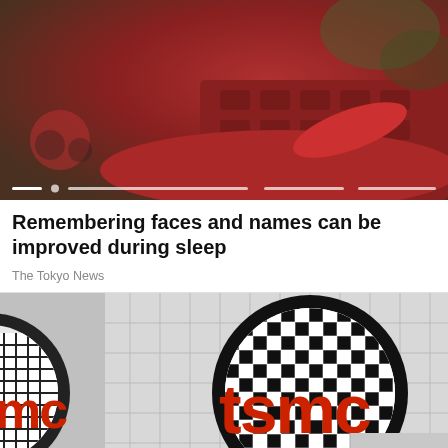[Figure (photo): Photo of a woman with red hair sleeping on a red pillow, wearing red clothing with cartoon print. Progress bar overlay at bottom.]
Remembering faces and names can be improved during sleep
The Tokyo News
[Figure (photo): Photo of TSMC building exterior showing the tsmc logo in red letters on a large circular grid/wafer-patterned sign mounted on a white tiled building facade. A partial tsmc logo visible on lower left.]